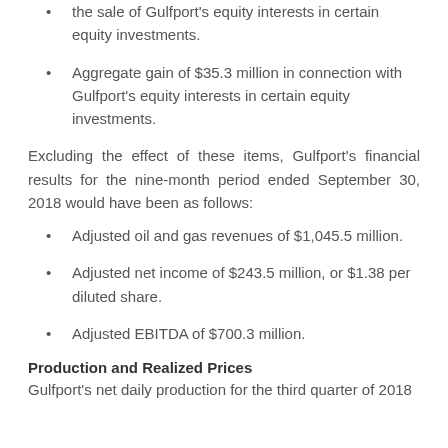the sale of Gulfport's equity interests in certain equity investments.
Aggregate gain of $35.3 million in connection with Gulfport's equity interests in certain equity investments.
Excluding the effect of these items, Gulfport's financial results for the nine-month period ended September 30, 2018 would have been as follows:
Adjusted oil and gas revenues of $1,045.5 million.
Adjusted net income of $243.5 million, or $1.38 per diluted share.
Adjusted EBITDA of $700.3 million.
Production and Realized Prices
Gulfport's net daily production for the third quarter of 2018